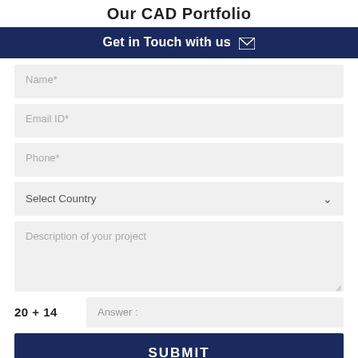Our CAD Portfolio
Get in Touch with us ✉
Name*
Email ID*
Phone*
Select Country
Description of your project
20 + 14   Answer :
SUBMIT